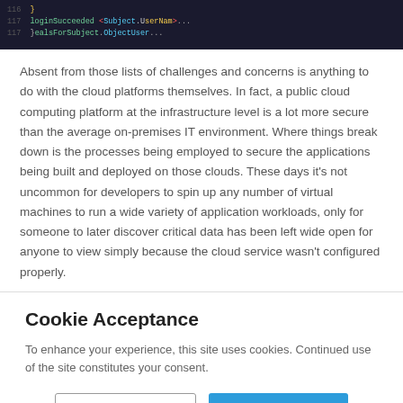[Figure (screenshot): Dark-themed code editor screenshot showing login/authentication code with syntax highlighting (green, pink, blue) on a dark background]
Absent from those lists of challenges and concerns is anything to do with the cloud platforms themselves. In fact, a public cloud computing platform at the infrastructure level is a lot more secure than the average on-premises IT environment. Where things break down is the processes being employed to secure the applications being built and deployed on those clouds. These days it's not uncommon for developers to spin up any number of virtual machines to run a wide variety of application workloads, only for someone to later discover critical data has been left wide open for anyone to view simply because the cloud service wasn't configured properly.
Cookie Acceptance
To enhance your experience, this site uses cookies. Continued use of the site constitutes your consent.